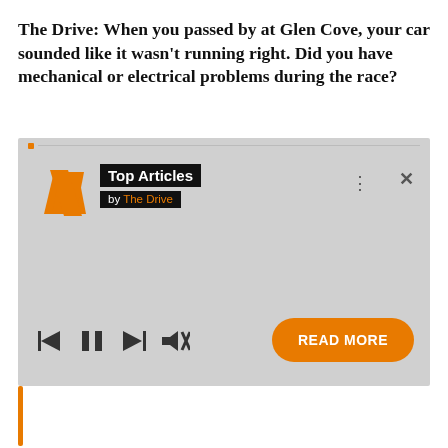The Drive: When you passed by at Glen Cove, your car sounded like it wasn't running right. Did you have mechanical or electrical problems during the race?
[Figure (screenshot): An audio/media player widget for 'Top Articles by The Drive' with a logo, media controls (skip back, pause, skip forward, mute), a three-dot menu, a close button, and an orange 'READ MORE' button.]